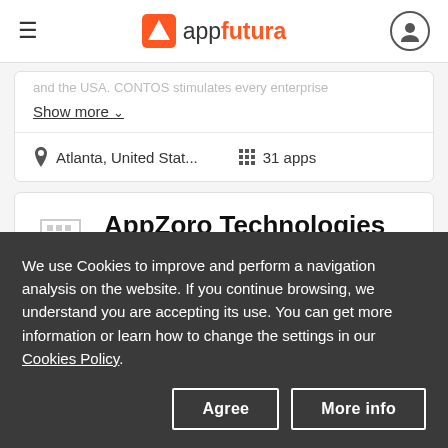appfutura
and the USA. CONTOS stimulates every enterprise
Show more
Atlanta, United Stat...   31 apps
AppZoro Technologies Inc.
We use Cookies to improve and perform a navigation analysis on the website. If you continue browsing, we understand you are accepting its use. You can get more information or learn how to change the settings in our Cookies Policy.
Agree   More info